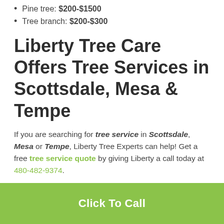Pine tree: $200-$1500
Tree branch: $200-$300
Liberty Tree Care Offers Tree Services in Scottsdale, Mesa & Tempe
If you are searching for tree service in Scottsdale, Mesa or Tempe, Liberty Tree Experts can help! Get a free tree service quote by giving Liberty a call today at 480-482-9374.
Click To Call